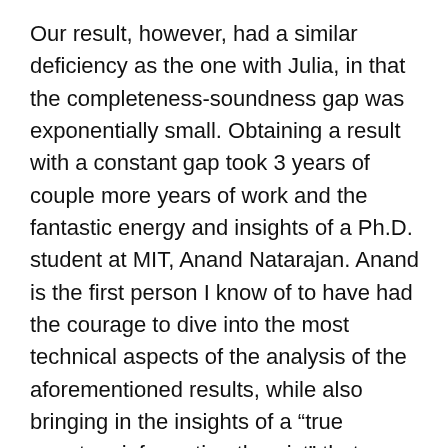Our result, however, had a similar deficiency as the one with Julia, in that the completeness-soundness gap was exponentially small. Obtaining a result with a constant gap took 3 years of couple more years of work and the fantastic energy and insights of a Ph.D. student at MIT, Anand Natarajan. Anand is the first person I know of to have had the courage to dive into the most technical aspects of the analysis of the aforementioned results, while also bringing in the insights of a “true quantum information theorist” that were supported by Anand’s background in Physics and upbringing in the group of Aram Harrow at MIT. (In contrast I think of myself more as a “raw” mathematician; I don’t really understand quantum states other than as positive-semidefinite matrices…not that I understand math either of course; I suppose I’m some kind of a half-baked mish-mash.) Anand had many